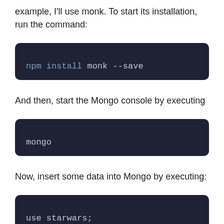example, I'll use monk. To start its installation, run the command:
npm install monk --save
And then, start the Mongo console by executing
mongo
Now, insert some data into Mongo by executing:
use starwars;

db.character.insert({